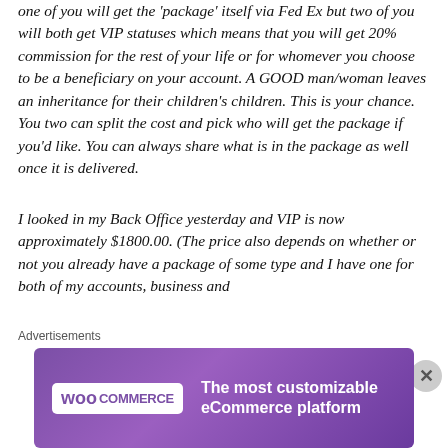one of you will get the 'package' itself via Fed Ex but two of you will both get VIP statuses which means that you will get 20% commission for the rest of your life or for whomever you choose to be a beneficiary on your account. A GOOD man/woman leaves an inheritance for their children's children. This is your chance. You two can split the cost and pick who will get the package if you'd like. You can always share what is in the package as well once it is delivered.
I looked in my Back Office yesterday and VIP is now approximately $1800.00. (The price also depends on whether or not you already have a package of some type and I have one for both of my accounts, business and
Advertisements
[Figure (other): WooCommerce advertisement banner. Purple gradient background with WooCommerce logo on the left and tagline 'The most customizable eCommerce platform' on the right.]